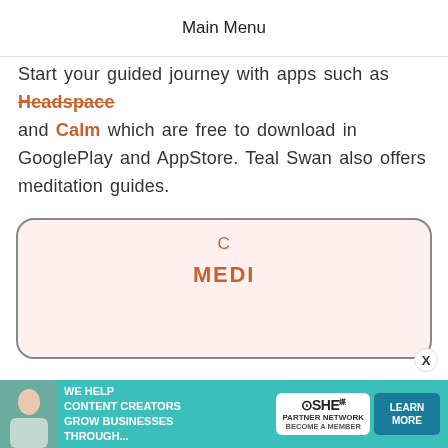Main Menu
Start your guided journey with apps such as Headspace and Calm which are free to download in GooglePlay and AppStore. Teal Swan also offers meditation guides.
[Figure (other): A pink rounded card/box showing partially visible orange text: 'C' on one line and 'MEDI' on a second line in bold, representing a meditation guide card that is partially cropped.]
5. Play soothing m...
It is...
[Figure (infographic): Advertisement banner: teal background with a woman photo on left, text 'WE HELP CONTENT CREATORS GROW BUSINESSES THROUGH...' in white, SHE Media Partner Network badge, and a dark teal 'LEARN MORE' button on the right.]